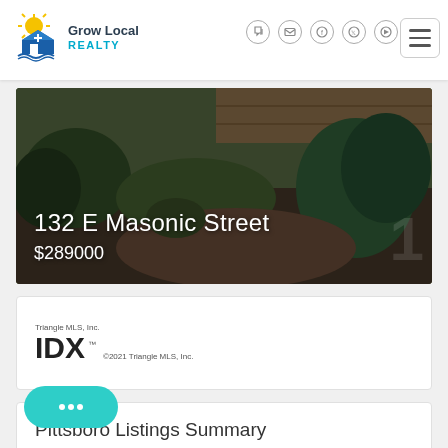[Figure (logo): Grow Local Realty logo with sun and house icon]
[Figure (photo): Outdoor garden/landscaping photo with plants and wooden deck, used as property banner for 132 E Masonic Street]
132 E Masonic Street
$289000
[Figure (logo): IDX Triangle MLS, Inc. logo with copyright 2021 Triangle MLS, Inc.]
Pittsboro Listings Summary